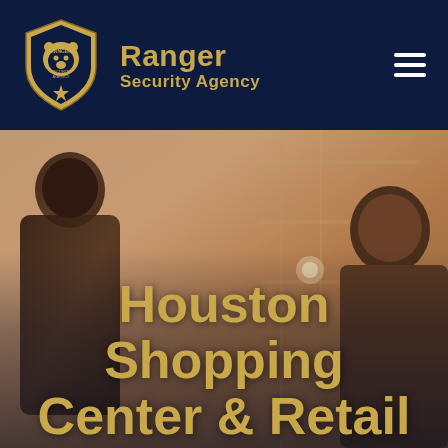Ranger Security Agency
[Figure (photo): Hero background image showing people in a shopping center/retail environment, blurred background with two figures visible]
Houston Shopping Center & Retail